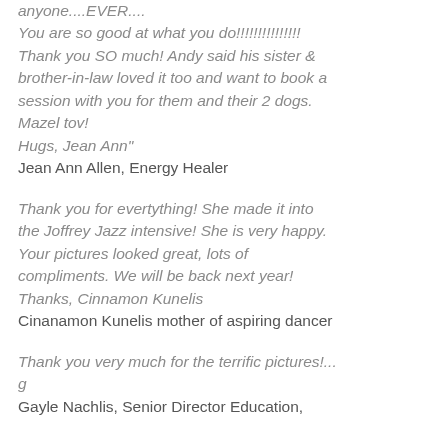anyone....EVER.... You are so good at what you do!!!!!!!!!!!!!!! Thank you SO much! Andy said his sister & brother-in-law loved it too and want to book a session with you for them and their 2 dogs. Mazel tov! Hugs, Jean Ann"
Jean Ann Allen, Energy Healer
Thank you for evertything! She made it into the Joffrey Jazz intensive! She is very happy. Your pictures looked great, lots of compliments. We will be back next year! Thanks, Cinnamon Kunelis
Cinanamon Kunelis mother of aspiring dancer
Thank you very much for the terrific pictures!... g
Gayle Nachlis, Senior Director Education,